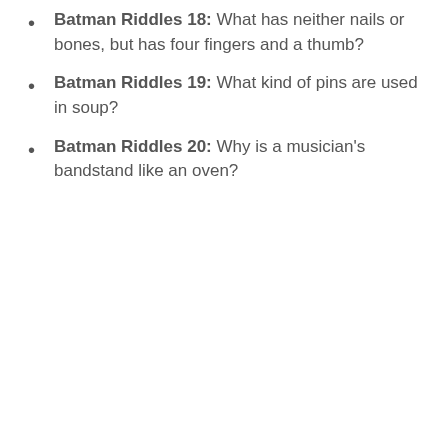Batman Riddles 18: What has neither nails or bones, but has four fingers and a thumb?
Batman Riddles 19: What kind of pins are used in soup?
Batman Riddles 20: Why is a musician's bandstand like an oven?